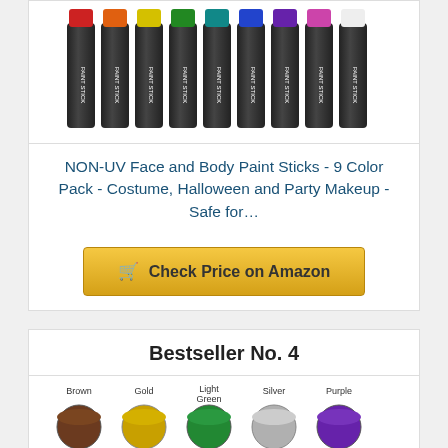[Figure (photo): Row of 9 black paint stick tubes with colored tops]
NON-UV Face and Body Paint Sticks - 9 Color Pack - Costume, Halloween and Party Makeup - Safe for...
Check Price on Amazon
Bestseller No. 4
[Figure (photo): Grid of face paint color pots: Brown, Gold, Light Green, Silver, Purple, Dark Green, Red, Black, Light Blue, Orange]